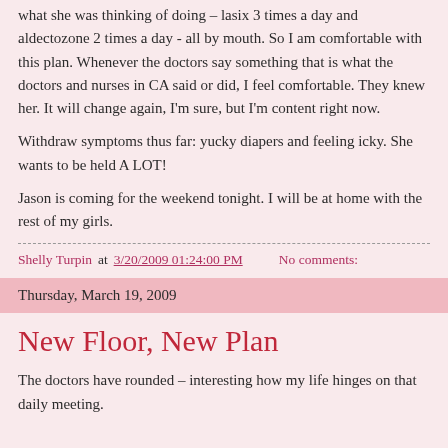what she was thinking of doing – lasix 3 times a day and aldectozone 2 times a day  - all by mouth.   So I am comfortable with this plan.  Whenever the doctors say something that is what the doctors and nurses in CA said or did, I feel comfortable.  They knew her.  It will change again, I'm sure, but I'm content right now.
Withdraw symptoms thus far: yucky diapers and feeling icky.  She wants to be held A LOT!
Jason is coming for the weekend tonight.  I will be at home with the rest of my girls.
Shelly Turpin at 3/20/2009 01:24:00 PM    No comments:
Thursday, March 19, 2009
New Floor, New Plan
The doctors have rounded – interesting how my life hinges on that daily meeting.